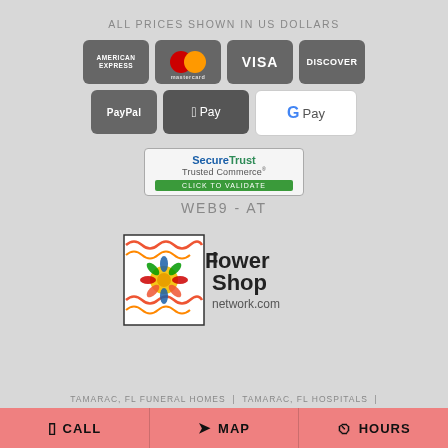ALL PRICES SHOWN IN US DOLLARS
[Figure (logo): Payment method icons: American Express, Mastercard, Visa, Discover, PayPal, Apple Pay, Google Pay]
[Figure (logo): SecureTrust Trusted Commerce badge with 'CLICK TO VALIDATE' button]
WEB9 - AT
[Figure (logo): Flower Shop Network logo - flowershopnetwork.com]
TAMARAC, FL FUNERAL HOMES | TAMARAC, FL HOSPITALS |
CALL  MAP  HOURS